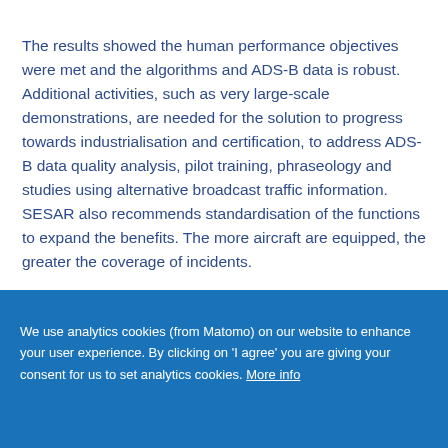The results showed the human performance objectives were met and the algorithms and ADS-B data is robust. Additional activities, such as very large-scale demonstrations, are needed for the solution to progress towards industrialisation and certification, to address ADS-B data quality analysis, pilot training, phraseology and studies using alternative broadcast traffic information. SESAR also recommends standardisation of the functions to expand the benefits. The more aircraft are equipped, the greater the coverage of incidents.
We use analytics cookies (from Matomo) on our website to enhance your user experience. By clicking on 'I agree' you are giving your consent for us to set analytics cookies. More info